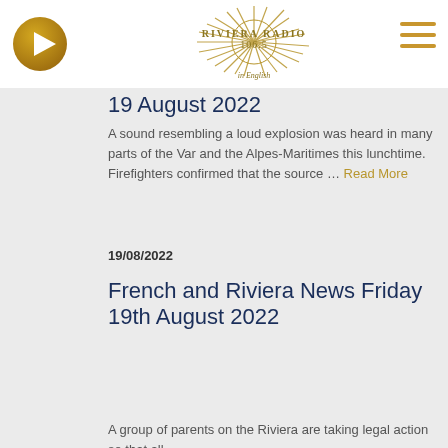[Figure (logo): Riviera Radio 106.5 in English logo with sun rays graphic, gold/olive color]
19 August 2022
A sound resembling a loud explosion was heard in many parts of the Var and the Alpes-Maritimes this lunchtime. Firefighters confirmed that the source … Read More
19/08/2022
French and Riviera News Friday 19th August 2022
A group of parents on the Riviera are taking legal action so that all